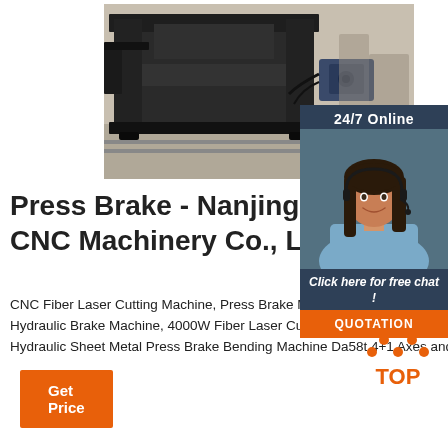[Figure (photo): Industrial press brake / CNC sheet metal bending machine photographed in a factory setting, viewed from the side, dark grey/black color]
[Figure (photo): 24/7 Online customer service panel showing a smiling female agent wearing a headset, with dark blue background, 'Click here for free chat!' text and orange QUOTATION button]
Press Brake - Nanjing Prim CNC Machinery Co., Ltd. -
CNC Fiber Laser Cutting Machine, Press Brake Machine manufacturer supplier in China, offering Manufacturer 100t Steel Plate CNC Hydraulic Brake Machine, 4000W Fiber Laser Cutting with Automatic Square Tube Pipe CNC Fiber Laser Cutting Machine, CNC Hydraulic Sheet Metal Press Brake Bending Machine Da58t 4+1 Axes and so on.
[Figure (logo): Orange TOP logo with dots above forming a triangle/mountain shape]
Get Price